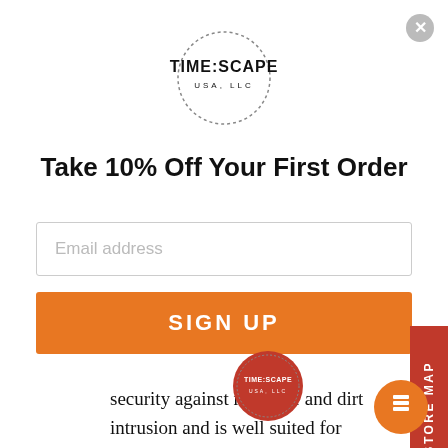[Figure (logo): TIME:SCAPE USA, LLC circular logo with dotted border]
Take 10% Off Your First Order
Email address
SIGN UP
security against moisture and dirt intrusion and is well suited for professional diving with a 200 meter water resistance. The brushed and polished case is powered light through Seiko's solar caliber V with a 10-month power reserve. Fitted with